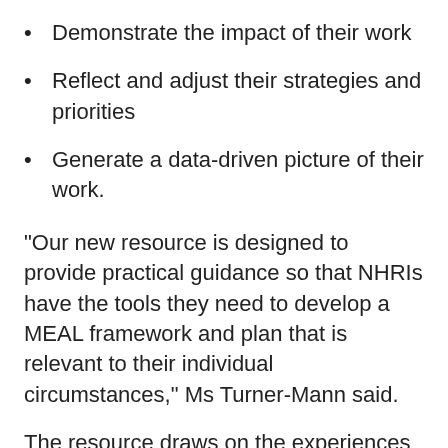Demonstrate the impact of their work
Reflect and adjust their strategies and priorities
Generate a data-driven picture of their work.
"Our new resource is designed to provide practical guidance so that NHRIs have the tools they need to develop a MEAL framework and plan that is relevant to their individual circumstances," Ms Turner-Mann said.
The resource draws on the experiences of